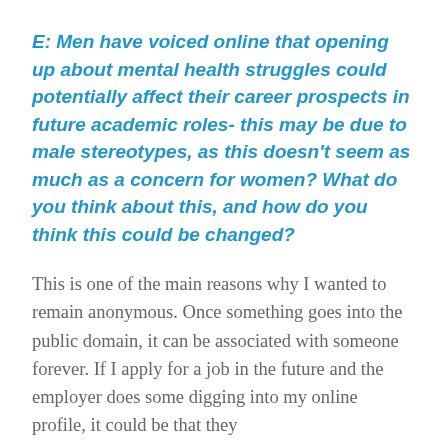E: Men have voiced online that opening up about mental health struggles could potentially affect their career prospects in future academic roles- this may be due to male stereotypes, as this doesn't seem as much as a concern for women? What do you think about this, and how do you think this could be changed?
This is one of the main reasons why I wanted to remain anonymous. Once something goes into the public domain, it can be associated with someone forever. If I apply for a job in the future and the employer does some digging into my online profile, it could be that they